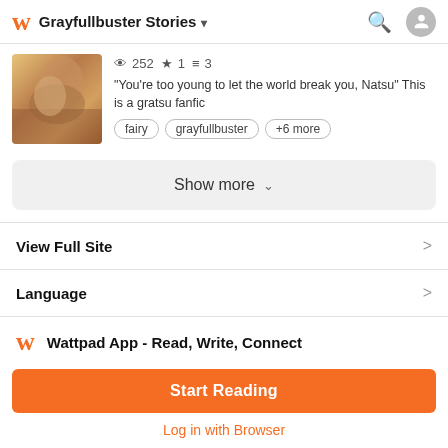Grayfullbuster Stories
252 views · 1 star · 3 parts
"You're too young to let the world break you, Natsu" This is a gratsu fanfic
fairy  grayfullbuster  +6 more
Show more
View Full Site
Language
Wattpad App - Read, Write, Connect
Start Reading
Log in with Browser